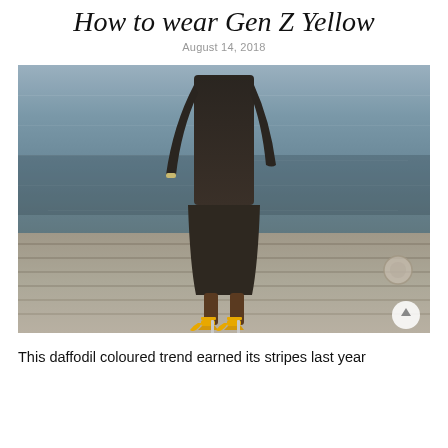How to wear Gen Z Yellow
August 14, 2018
[Figure (photo): Woman standing on a wooden dock near water, wearing a dark long-sleeve fitted midi dress and bright yellow pointed-toe heels with ankle straps.]
This daffodil coloured trend earned its stripes last year